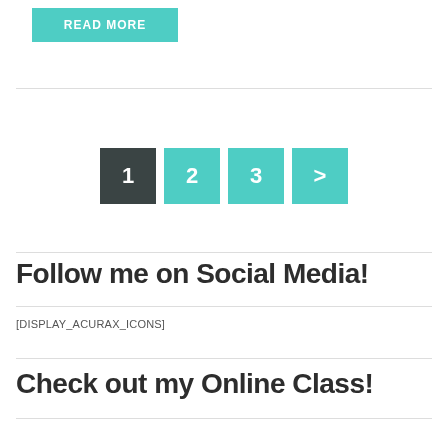[Figure (other): READ MORE button in teal/turquoise color]
[DISPLAY_ACURAX_ICONS]
Follow me on Social Media!
[DISPLAY_ACURAX_ICONS]
Check out my Online Class!